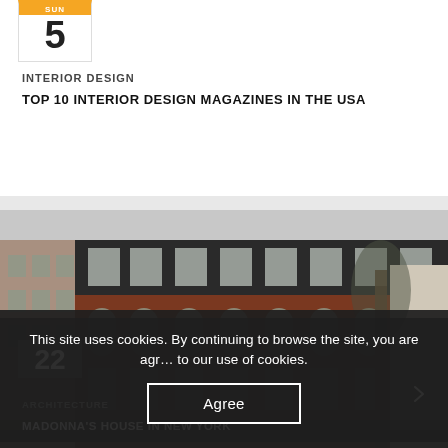5
INTERIOR DESIGN
TOP 10 INTERIOR DESIGN MAGAZINES IN THE USA
[Figure (photo): Exterior photograph of a multi-story red brick building with black mansard roof, arched windows, and ornate architectural detailing — a New York City townhouse]
22
ARCHITECTURE
MADONNA'S HOUSE IN NEW YORK
This site uses cookies. By continuing to browse the site, you are agreeing to our use of cookies.
Agree